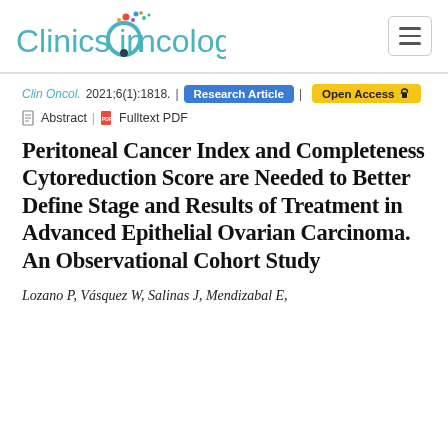Clinics in Oncology
Clin Oncol. 2021;6(1):1818. | Research Article | Open Access
Abstract | Fulltext PDF
Peritoneal Cancer Index and Completeness Cytoreduction Score are Needed to Better Define Stage and Results of Treatment in Advanced Epithelial Ovarian Carcinoma. An Observational Cohort Study
Lozano P, Vásquez W, Salinas J, Mendizabal E,